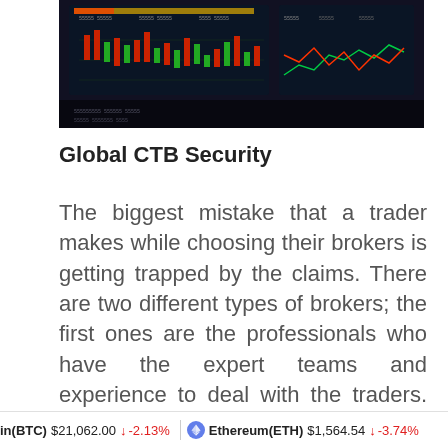[Figure (photo): Dark trading screen showing financial charts and graphs with colorful candlestick data and multiple monitors.]
Global CTB Security
The biggest mistake that a trader makes while choosing their brokers is getting trapped by the claims. There are two different types of brokers; the first ones are the professionals who have the expert teams and experience to deal with the traders. And the second ones are unprofessional
in(BTC) $21,062.00 ↓ -2.13% Ethereum(ETH) $1,564.54 ↓ -3.74%